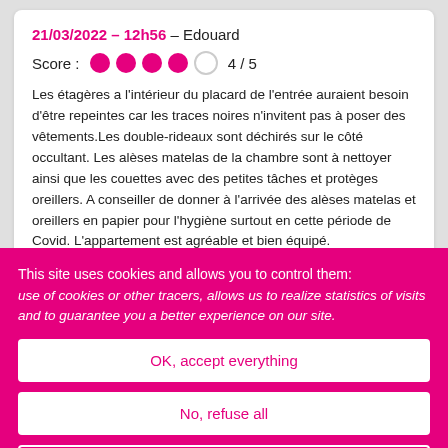21/03/2022 – 12h56 – Edouard
Score : 4 / 5
Les étagères a l'intérieur du placard de l'entrée auraient besoin d'être repeintes car les traces noires n'invitent pas à poser des vêtements.Les double-rideaux sont déchirés sur le côté occultant. Les alèses matelas de la chambre sont à nettoyer ainsi que les couettes avec des petites tâches et protèges oreillers. A conseiller de donner à l'arrivée des alèses matelas et oreillers en papier pour l'hygiène surtout en cette période de Covid. L'appartement est agréable et bien équipé.
This site uses cookies and allows you to control them:
use of cookies or other tracers, allows us to realize statistics of visits and to guarantee you a better experience on our site.
OK, accept everything
No, refuse all
Personalize